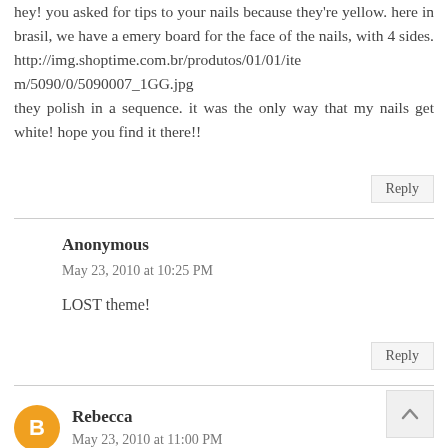hey! you asked for tips to your nails because they're yellow. here in brasil, we have a emery board for the face of the nails, with 4 sides. http://img.shoptime.com.br/produtos/01/01/item/5090/0/5090007_1GG.jpg they polish in a sequence. it was the only way that my nails get white! hope you find it there!!
Reply
Anonymous
May 23, 2010 at 10:25 PM
LOST theme!
Reply
Rebecca
May 23, 2010 at 11:00 PM